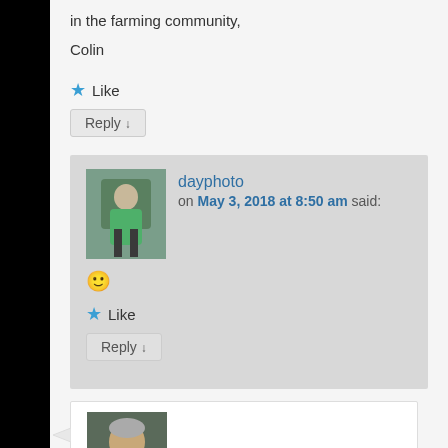in the farming community,
Colin
★ Like
Reply ↓
dayphoto on May 3, 2018 at 8:50 am said:
🙂
★ Like
Reply ↓
[Figure (photo): Avatar photo of a person standing outdoors in a green shirt near garden beds]
[Figure (photo): Avatar photo of a person with gray hair outdoors]